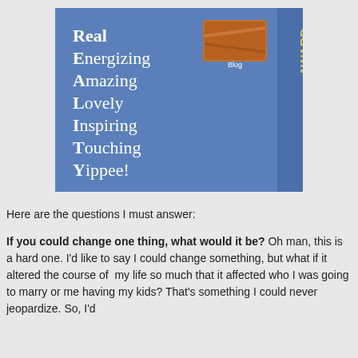[Figure (illustration): REALTY Blog Award badge — blue square background with white text listing R=Real, E=Energizing, A=Amazing, L=Lovely, I=Inspiring, T=Touching, Y=Yippee! along the left, a small 'Blog' thumbnail image in the upper right, and vertical text 'BLOG AWARD' in white and gold on the right side.]
Here are the questions I must answer:
If you could change one thing, what would it be? Oh man, this is a hard one. I'd like to say I could change something, but what if it altered the course of  my life so much that it affected who I was going to marry or me having my kids? That's something I could never jeopardize. So, I'd